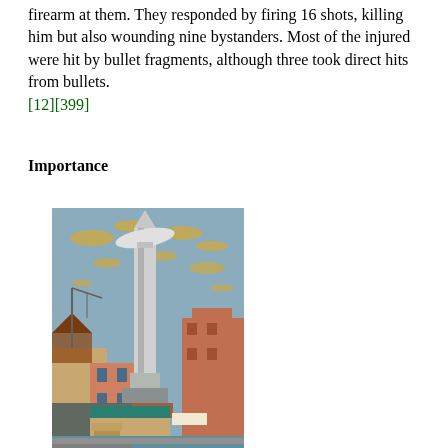firearm at them. They responded by firing 16 shots, killing him but also wounding nine bystanders. Most of the injured were hit by bullet fragments, although three took direct hits from bullets. [12][399]
Importance
[Figure (illustration): A painting depicting a futuristic cityscape with a tall rocket or missile rising above urban buildings with cranes, warehouses, and brick buildings. A zeppelin or airship is visible near the top of the rocket. The sky has stylized golden clouds against a blue-grey background.]